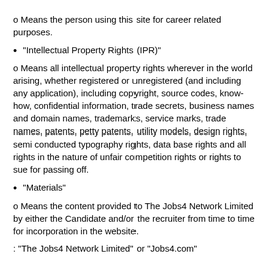o Means the person using this site for career related purposes.
"Intellectual Property Rights (IPR)"
o Means all intellectual property rights wherever in the world arising, whether registered or unregistered (and including any application), including copyright, source codes, know-how, confidential information, trade secrets, business names and domain names, trademarks, service marks, trade names, patents, petty patents, utility models, design rights, semi conducted typography rights, data base rights and all rights in the nature of unfair competition rights or rights to sue for passing off.
"Materials"
o Means the content provided to The Jobs4 Network Limited by either the Candidate and/or the recruiter from time to time for incorporation in the website.
: "The Jobs4 Network Limited" or "Jobs4.com"